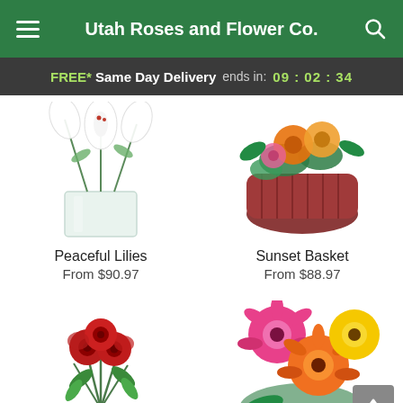Utah Roses and Flower Co.
FREE* Same Day Delivery ends in: 09 : 02 : 34
[Figure (photo): White lilies in a clear glass square vase]
Peaceful Lilies
From $90.97
[Figure (photo): Orange and pink flowers in a red wicker basket with greenery]
Sunset Basket
From $88.97
[Figure (photo): Red roses bouquet with green leaves in a vase]
[Figure (photo): Colorful gerbera daisies in pink, orange, and yellow]